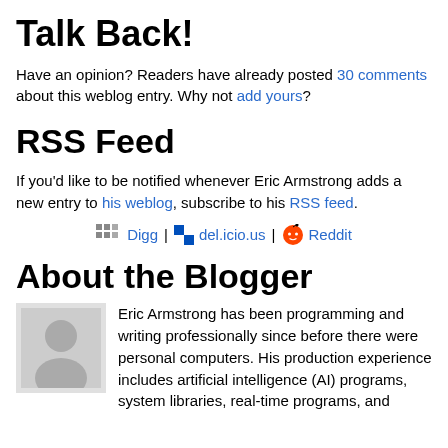Talk Back!
Have an opinion? Readers have already posted 30 comments about this weblog entry. Why not add yours?
RSS Feed
If you'd like to be notified whenever Eric Armstrong adds a new entry to his weblog, subscribe to his RSS feed.
[Figure (infographic): Social sharing links: Digg icon with link, del.icio.us icon with link, Reddit icon with link]
About the Blogger
Eric Armstrong has been programming and writing professionally since before there were personal computers. His production experience includes artificial intelligence (AI) programs, system libraries, real-time programs, and